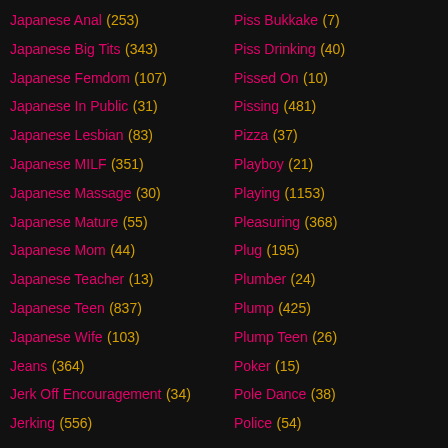Japanese Anal (253)
Japanese Big Tits (343)
Japanese Femdom (107)
Japanese In Public (31)
Japanese Lesbian (83)
Japanese MILF (351)
Japanese Massage (30)
Japanese Mature (55)
Japanese Mom (44)
Japanese Teacher (13)
Japanese Teen (837)
Japanese Wife (103)
Jeans (364)
Jerk Off Encouragement (34)
Jerking (556)
Piss Bukkake (7)
Piss Drinking (40)
Pissed On (10)
Pissing (481)
Pizza (37)
Playboy (21)
Playing (1153)
Pleasuring (368)
Plug (195)
Plumber (24)
Plump (425)
Plump Teen (26)
Poker (15)
Pole Dance (38)
Police (54)